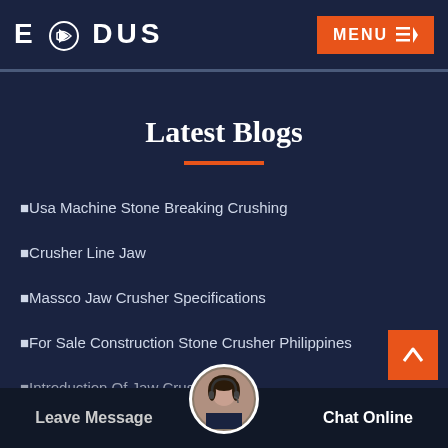EXODUS | MENU
Latest Blogs
■Usa Machine Stone Breaking Crushing
■Crusher Line Jaw
■Massco Jaw Crusher Specifications
■For Sale Construction Stone Crusher Philippines
■Introduction Of Jaw Crusher Man
Leave Message | Chat Online